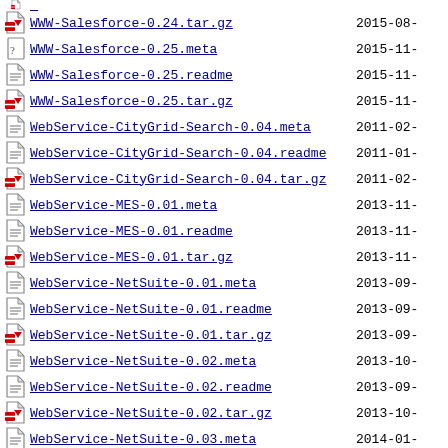WWW-Salesforce-0.24.tar.gz  2015-08-
WWW-Salesforce-0.25.meta  2015-11-
WWW-Salesforce-0.25.readme  2015-11-
WWW-Salesforce-0.25.tar.gz  2015-11-
WebService-CityGrid-Search-0.04.meta  2011-02-
WebService-CityGrid-Search-0.04.readme  2011-01-
WebService-CityGrid-Search-0.04.tar.gz  2011-02-
WebService-MES-0.01.meta  2013-11-
WebService-MES-0.01.readme  2013-11-
WebService-MES-0.01.tar.gz  2013-11-
WebService-NetSuite-0.01.meta  2013-09-
WebService-NetSuite-0.01.readme  2013-09-
WebService-NetSuite-0.01.tar.gz  2013-09-
WebService-NetSuite-0.02.meta  2013-10-
WebService-NetSuite-0.02.readme  2013-09-
WebService-NetSuite-0.02.tar.gz  2013-10-
WebService-NetSuite-0.03.meta  2014-01-